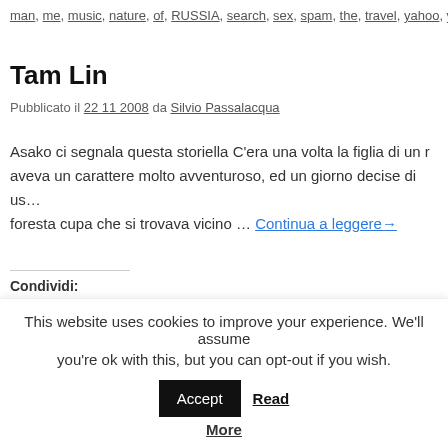man, me, music, nature, of, RUSSIA, search, sex, spam, the, travel, yahoo, y…
Tam Lin
Pubblicato il 22 11 2008 da Silvio Passalacqua
Asako ci segnala questa storiella C'era una volta la figlia di un r… aveva un carattere molto avventuroso, ed un giorno decise di us… foresta cupa che si trovava vicino … Continua a leggere→
Condividi:
[Figure (infographic): Four social share buttons: Twitter (blue), Facebook (blue), Pinterest (red), LinkedIn (dark blue)]
Pubblicato in Storielle e Aneddoti | Contrassegnato 2008, agriturismo, albergh…
This website uses cookies to improve your experience. We'll assume you're ok with this, but you can opt-out if you wish. Accept Read More